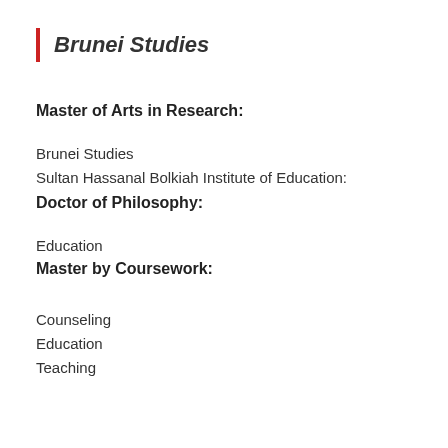Brunei Studies
Master of Arts in Research:
Brunei Studies
Sultan Hassanal Bolkiah Institute of Education:
Doctor of Philosophy:
Education
Master by Coursework:
Counseling
Education
Teaching